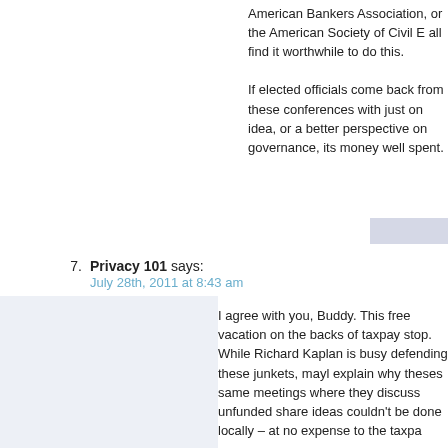American Bankers Association, or the American Society of Civil E all find it worthwhile to do this.
If elected officials come back from these conferences with just on idea, or a better perspective on governance, its money well spent.
7. Privacy 101 says:
July 28th, 2011 at 8:43 am

I agree with you, Buddy. This free vacation on the backs of taxpay stop. While Richard Kaplan is busy defending these junkets, mayl explain why theses same meetings where they discuss unfunded share ideas couldn't be done locally – at no expense to the taxpa
8. What? says:
July 28th, 2011 at 8:43 am

At best, the League of Cities is a social club where you get to shn your ego stroked, and I suppose one can learn a little tidbit here a could be useful to your city. But the cost to taxpayers is well beyo At worst, the League of Cities is an unelected and unaccountable group, with their own attorneys and other "staff" supported by taxp special interest funds, which pushes narrow, and often harmful, p interests, at the expense of the greater community good. Example